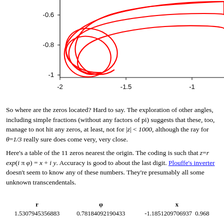[Figure (continuous-plot): A red curve on a coordinate plane showing a loop/spiral shape. The x-axis ranges from about -2 to beyond -0.5, and the y-axis shows values from about -1 to -0.6. The red curve forms an elongated loop going from lower-left upward to upper-right.]
So where are the zeros located? Hard to say. The exploration of other angles, including simple fractions (without any factors of pi) suggests that these, too, manage to not hit any zeros, at least, not for |z| < 1000, although the ray for θ=1/3 really sure does come very, very close.
Here's a table of the 11 zeros nearest the origin. The coding is such that z=r exp(i π φ) = x + i y. Accuracy is good to about the last digit. Plouffe's inverter doesn't seem to know any of these numbers. They're presumably all some unknown transcendentals.
| r | φ | x |
| --- | --- | --- |
| 1.5307945356883 | 0.78184092190433 | -1.1851209706937 | 0.968... |